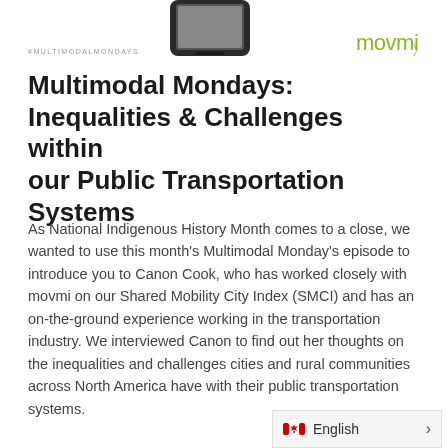[Figure (photo): Partial view of a smartphone device at the top of the page]
#MULTIMODALMONDAYS
[Figure (logo): movmi logo in olive/yellow-green color with a stylized 'g' at the end]
Multimodal Mondays: Inequalities & Challenges within our Public Transportation Systems
As National Indigenous History Month comes to a close, we wanted to use this month's Multimodal Monday's episode to introduce you to Canon Cook, who has worked closely with movmi on our Shared Mobility City Index (SMCI) and has an on-the-ground experience working in the transportation industry. We interviewed Canon to find out her thoughts on the inequalities and challenges cities and rural communities across North America have with their public transportation systems.
English